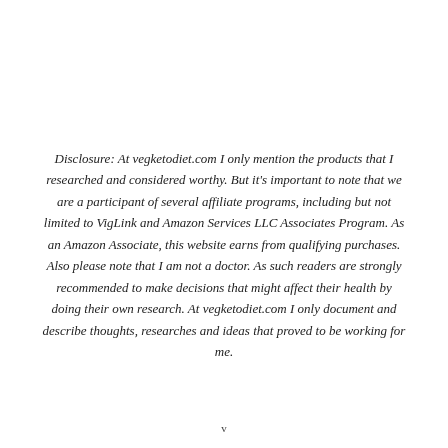Disclosure: At vegketodiet.com I only mention the products that I researched and considered worthy. But it's important to note that we are a participant of several affiliate programs, including but not limited to VigLink and Amazon Services LLC Associates Program. As an Amazon Associate, this website earns from qualifying purchases. Also please note that I am not a doctor. As such readers are strongly recommended to make decisions that might affect their health by doing their own research. At vegketodiet.com I only document and describe thoughts, researches and ideas that proved to be working for me.
v